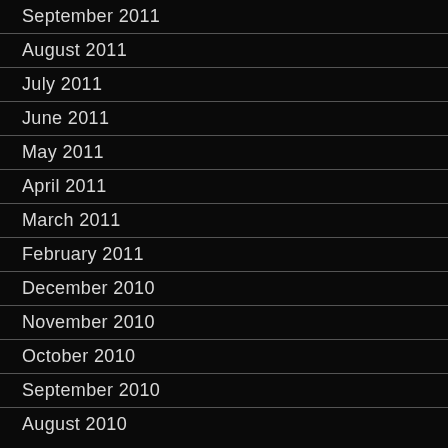September 2011
August 2011
July 2011
June 2011
May 2011
April 2011
March 2011
February 2011
December 2010
November 2010
October 2010
September 2010
August 2010